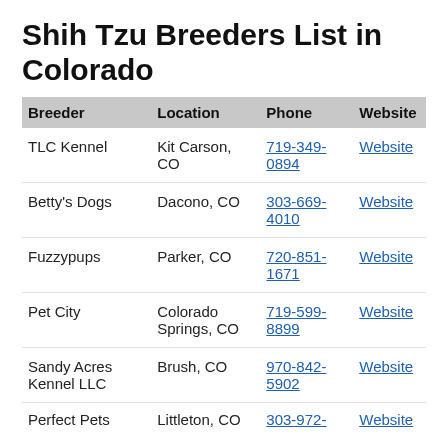Shih Tzu Breeders List in Colorado
| Breeder | Location | Phone | Website |
| --- | --- | --- | --- |
| TLC Kennel | Kit Carson, CO | 719-349-0894 | Website |
| Betty's Dogs | Dacono, CO | 303-669-4010 | Website |
| Fuzzypups | Parker, CO | 720-851-1671 | Website |
| Pet City | Colorado Springs, CO | 719-599-8899 | Website |
| Sandy Acres Kennel LLC | Brush, CO | 970-842-5902 | Website |
| Perfect Pets | Littleton, CO | 303-972-... | Website |